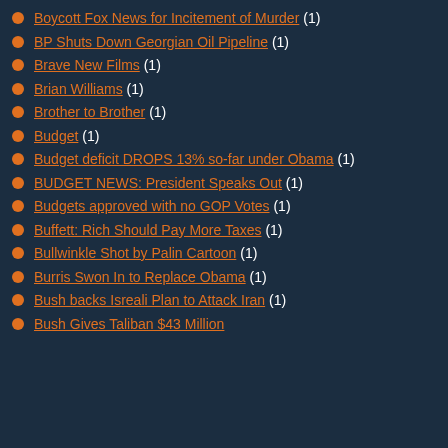Boycott Fox News for Incitement of Murder (1)
BP Shuts Down Georgian Oil Pipeline (1)
Brave New Films (1)
Brian Williams (1)
Brother to Brother (1)
Budget (1)
Budget deficit DROPS 13% so-far under Obama (1)
BUDGET NEWS: President Speaks Out (1)
Budgets approved with no GOP Votes (1)
Buffett: Rich Should Pay More Taxes (1)
Bullwinkle Shot by Palin Cartoon (1)
Burris Swon In to Replace Obama (1)
Bush backs Isreali Plan to Attack Iran (1)
Bush Gives Taliban $43 Million